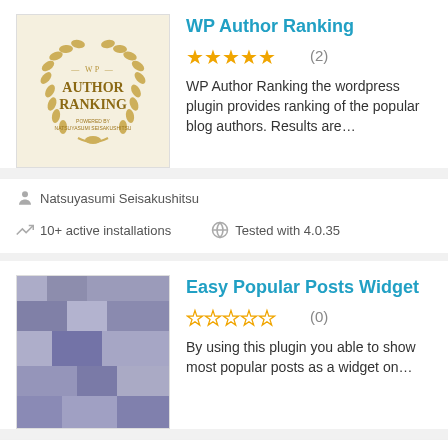[Figure (screenshot): WP Author Ranking plugin logo with laurel wreath on cream background]
WP Author Ranking
★★★★★ (2)
WP Author Ranking the wordpress plugin provides ranking of the popular blog authors. Results are…
Natsuyasumi Seisakushitsu
10+ active installations
Tested with 4.0.35
[Figure (screenshot): Easy Popular Posts Widget plugin thumbnail, blurred pixelated gray-blue image]
Easy Popular Posts Widget
☆☆☆☆☆ (0)
By using this plugin you able to show most popular posts as a widget on…
Rakib
10+ active installations
Tested with 4.5.26